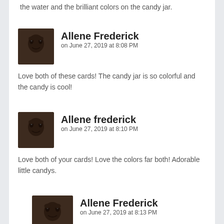the water and the brilliant colors on the candy jar.
Allene Frederick on June 27, 2019 at 8:08 PM
Love both of these cards! The candy jar is so colorful and the candy is cool!
Allene frederick on June 27, 2019 at 8:10 PM
Love both of your cards! Love the colors far both! Adorable little candys.
Allene Frederick on June 27, 2019 at 8:13 PM
Didn't mean to post twice